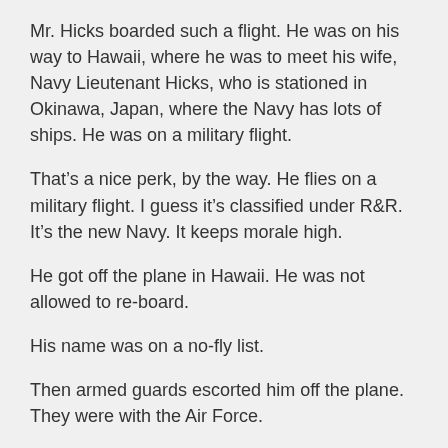Mr. Hicks boarded such a flight. He was on his way to Hawaii, where he was to meet his wife, Navy Lieutenant Hicks, who is stationed in Okinawa, Japan, where the Navy has lots of ships. He was on a military flight.
That's a nice perk, by the way. He flies on a military flight. I guess it's classified under R&R. It's the new Navy. It keeps morale high.
He got off the plane in Hawaii. He was not allowed to re-board.
His name was on a no-fly list.
Then armed guards escorted him off the plane. They were with the Air Force.
He has been stranded in Hawaii ever since.